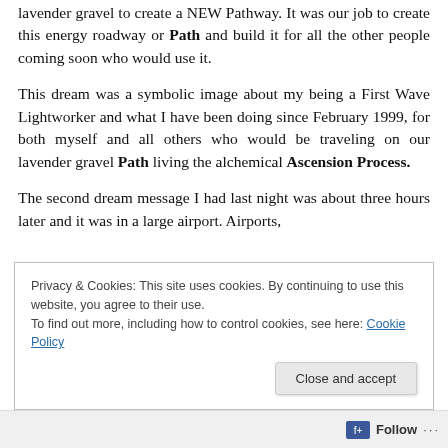lavender gravel to create a NEW Pathway. It was our job to create this energy roadway or Path and build it for all the other people coming soon who would use it.
This dream was a symbolic image about my being a First Wave Lightworker and what I have been doing since February 1999, for both myself and all others who would be traveling on our lavender gravel Path living the alchemical Ascension Process.
The second dream message I had last night was about three hours later and it was in a large airport. Airports,
Privacy & Cookies: This site uses cookies. By continuing to use this website, you agree to their use.
To find out more, including how to control cookies, see here: Cookie Policy
Follow ···